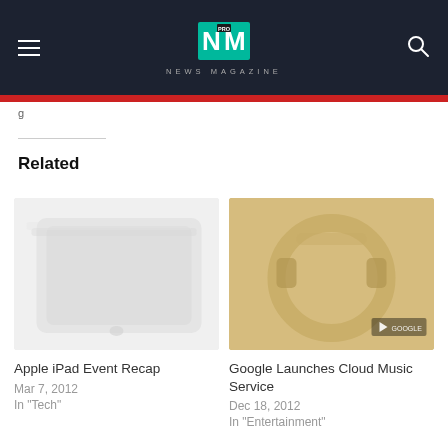NM PRO NEWS MAGAZINE
Related
[Figure (photo): Apple iPad stacked on a white surface, faded/light toned]
Apple iPad Event Recap
Mar 7, 2012
In "Tech"
[Figure (photo): Gold/yellow headphones, faded tone with a video play badge overlay]
Google Launches Cloud Music Service
Dec 18, 2012
In "Entertainment"